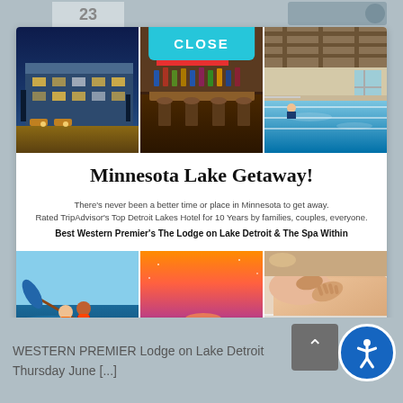[Figure (screenshot): Screenshot of a hotel/resort promotional popup on a website showing Minnesota Lake Getaway with 6 photos in a grid, marketing text, and a CLOSE button]
Minnesota Lake Getaway!
There's never been a better time or place in Minnesota to get away. Rated TripAdvisor's Top Detroit Lakes Hotel for 10 Years by families, couples, everyone.
Best Western Premier's The Lodge on Lake Detroit & The Spa Within
WESTERN PREMIER Lodge on Lake Detroit
Thursday June [...]